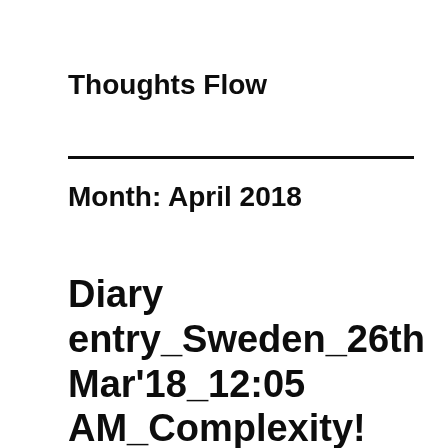Thoughts Flow
Month: April 2018
Diary entry_Sweden_26th Mar’18_12:05 AM_Complexity!